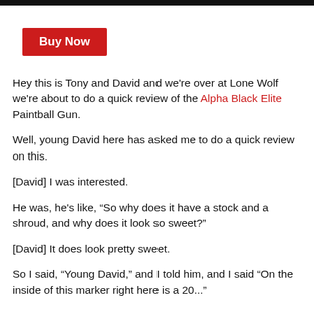[Figure (other): Red 'Buy Now' button]
Hey this is Tony and David and we're over at Lone Wolf we're about to do a quick review of the Alpha Black Elite Paintball Gun.
Well, young David here has asked me to do a quick review on this.
[David] I was interested.
He was, he's like, “So why does it have a stock and a shroud, and why does it look so sweet?”
[David] It does look pretty sweet.
So I said, “Young David,” and I told him, and I said “On the inside of this marker right here is a 20...